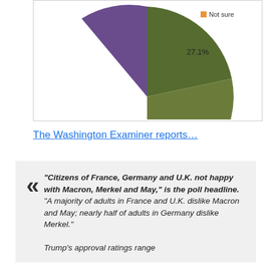[Figure (pie-chart): Partial pie chart visible at top of page showing a slice labeled 27.1% with legend entry 'Not sure'. Green and purple slices visible.]
The Washington Examiner reports…
«  "Citizens of France, Germany and U.K. not happy with Macron, Merkel and May," is the poll headline. "A majority of adults in France and U.K. dislike Macron and May; nearly half of adults in Germany dislike Merkel."
Trump's approval ratings range